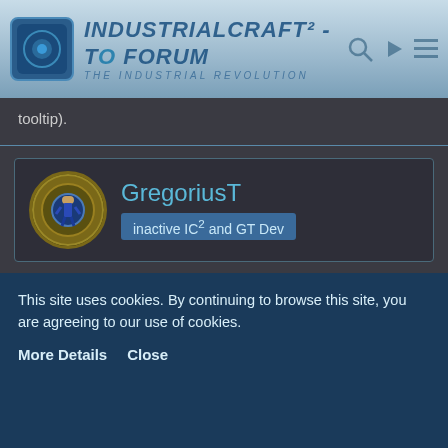IndustrialCraft² - The Forum · The Industrial Revolution
tooltip).
GregoriusT
inactive IC² and GT Dev
Apr 13th 2015  Official Post
The only complaint I could file is that the GUI Slot background Textures (Wrenches and Gears) are darker than the usual background, rather than being lighter, creating the illusion of something being inside the Slot what isn't actually there. When I look at those Slots I
This site uses cookies. By continuing to browse this site, you are agreeing to our use of cookies.
More Details   Close